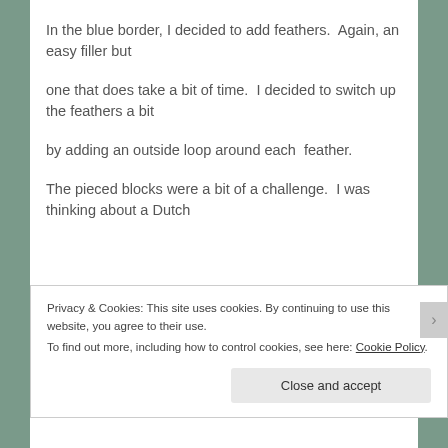In the blue border, I decided to add feathers.  Again, an easy filler but
one that does take a bit of time.  I decided to switch up the feathers a bit
by adding an outside loop around each  feather.
The pieced blocks were a bit of a challenge.  I was thinking about a Dutch
Privacy & Cookies: This site uses cookies. By continuing to use this website, you agree to their use.
To find out more, including how to control cookies, see here: Cookie Policy
Close and accept